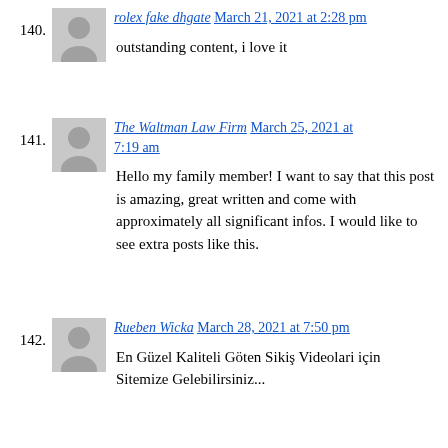140. rolex fake dhgate March 21, 2021 at 2:28 pm
outstanding content, i love it
141. The Waltman Law Firm March 25, 2021 at 7:19 am
Hello my family member! I want to say that this post is amazing, great written and come with approximately all significant infos. I would like to see extra posts like this.
142. Rueben Wicka March 28, 2021 at 7:50 pm
En Güzel Kaliteli Göten Sikiş Videolari için Sitemize Gelebilirsiniz...